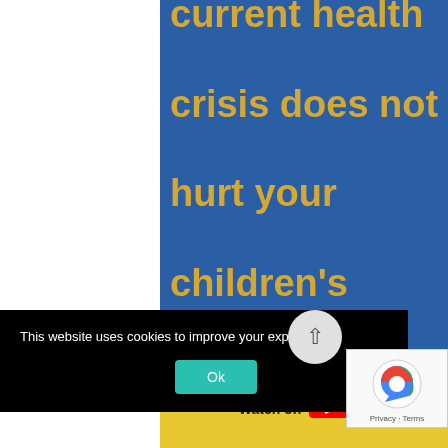[Figure (screenshot): A screenshot of a webpage showing a blue panel with large bold yellow/gold text reading 'current health crisis does not hurt your children's schooli[ng] even further?' partially cropped. A cookie consent banner overlays the bottom: 'This website uses cookies to improve your experience.' with an Ok button and close X. A reCAPTCHA widget and scroll-to-top button also appear. A yellow 'Watch on YouTube' bar is partially visible at the bottom.]